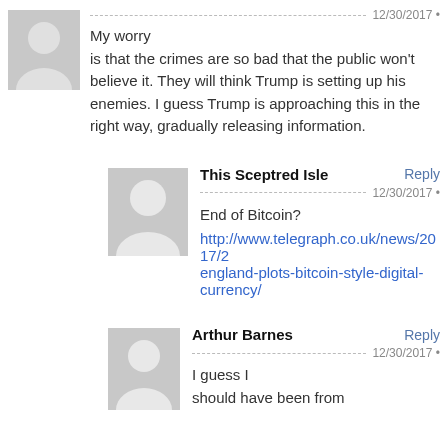[Figure (illustration): Anonymous user avatar (grey silhouette), top-left comment]
12/30/2017 •
My worry is that the crimes are so bad that the public won't believe it. They will think Trump is setting up his enemies. I guess Trump is approaching this in the right way, gradually releasing information.
[Figure (illustration): Anonymous user avatar (grey silhouette), second comment indented]
This Sceptred Isle Reply
12/30/2017 •
End of Bitcoin?
http://www.telegraph.co.uk/news/2017/... england-plots-bitcoin-style-digital-currency/
[Figure (illustration): Anonymous user avatar (grey silhouette), third comment indented]
Arthur Barnes Reply
12/30/2017 •
I guess I should have been from